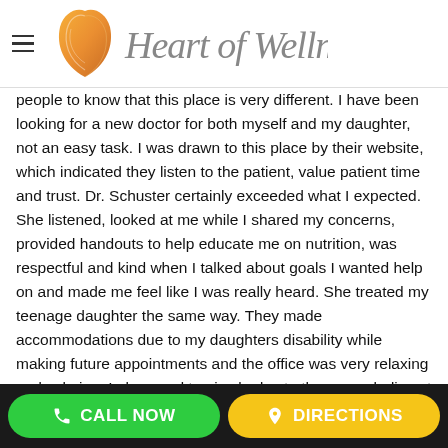[Figure (logo): Heart of Wellness logo with orange flame/heart shape and cursive text 'Heart of Wellness']
people to know that this place is very different. I have been looking for a new doctor for both myself and my daughter, not an easy task. I was drawn to this place by their website, which indicated they listen to the patient, value patient time and trust. Dr. Schuster certainly exceeded what I expected. She listened, looked at me while I shared my concerns, provided handouts to help educate me on nutrition, was respectful and kind when I talked about goals I wanted help on and made me feel like I was really heard. She treated my teenage daughter the same way. They made accommodations due to my daughters disability while making future appointments and the office was very relaxing and calming. I also need to give kudos to the young ladies at the front desk. They are polite, sweet, friendly, they smile, go out of their way to be kind...honestly, it was so different. This is
CALL NOW   DIRECTIONS